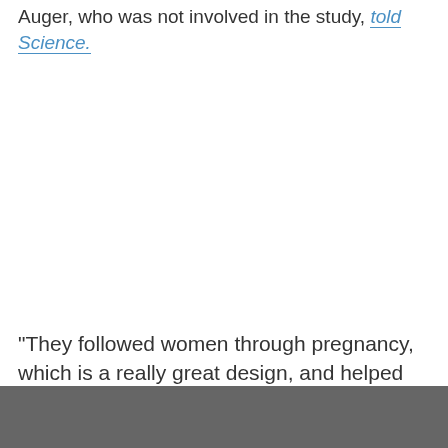Auger, who was not involved in the study, told Science.
"They followed women through pregnancy, which is a really great design, and helped confirm the
[Figure (other): Gray footer bar at bottom of page]